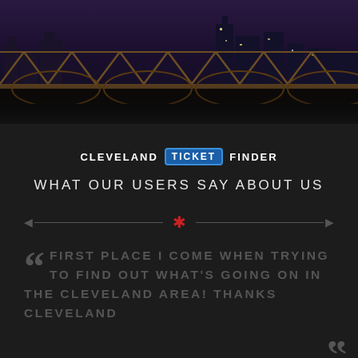[Figure (photo): Night cityscape of Cleveland with bridge in foreground and illuminated skyline in background]
[Figure (logo): Cleveland Ticket Finder logo — CLEVELAND in white bold caps, TICKET in blue box with border, FINDER in white bold caps]
WHAT OUR USERS SAY ABOUT US
FIRST PLACE I COME WHEN TRYING TO FIND OUT WHAT'S GOING ON IN THE CLEVELAND AREA! THANKS CLEVELAND